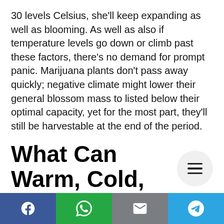30 levels Celsius, she'll keep expanding as well as blooming. As well as also if temperature levels go down or climb past these factors, there's no demand for prompt panic. Marijuana plants don't pass away quickly; negative climate might lower their general blossom mass to listed below their optimal capacity, yet for the most part, they'll still be harvestable at the end of the period.
What Can Warm, Cold, Or Rainfall Do To Weed Plants?
[Figure (other): Social share buttons: Facebook, WhatsApp, Email, Telegram]